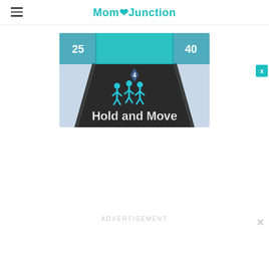MomJunction
[Figure (screenshot): Screenshot of a mobile game called 'Hold and Move' showing cyan stick figures on a dark road with the game title in white bold text at the bottom]
ADVERTISEMENT